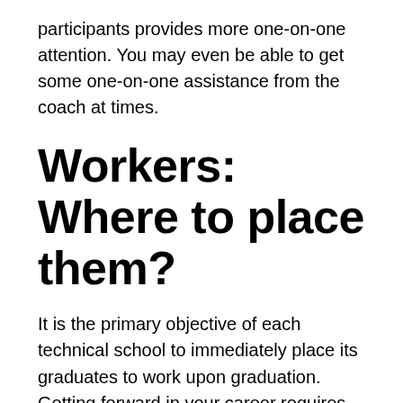participants provides more one-on-one attention. You may even be able to get some one-on-one assistance from the coach at times.
Workers: Where to place them?
It is the primary objective of each technical school to immediately place its graduates to work upon graduation. Getting forward in your career requires more than just a degree; you also need the contacts you build in school and the partnerships your institution has with industry insiders. As a last tip, look for the top sports broadcast school in [continues...]